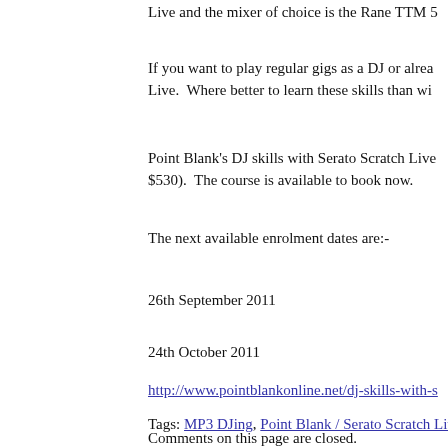Live and the mixer of choice is the Rane TTM 5
If you want to play regular gigs as a DJ or alrea... Live.  Where better to learn these skills than wi...
Point Blank’s DJ skills with Serato Scratch Live... $530).  The course is available to book now.
The next available enrolment dates are:-
26th September 2011
24th October 2011
http://www.pointblankonline.net/dj-skills-with-s
Tags: MP3 DJing, Point Blank / Serato Scratch Live, Se
Comments on this page are closed.